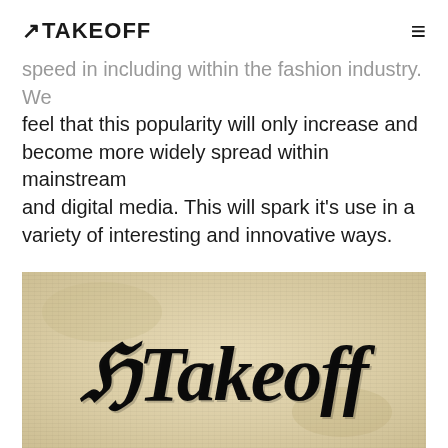ATakeoff (logo with hamburger menu)
speed in including within the fashion industry. We feel that this popularity will only increase and become more widely spread within mainstream and digital media. This will spark it's use in a variety of interesting and innovative ways.
[Figure (illustration): A parchment-style image showing the word 'ATakeoff' rendered in blackletter/gothic calligraphy font on an aged, yellowed background.]